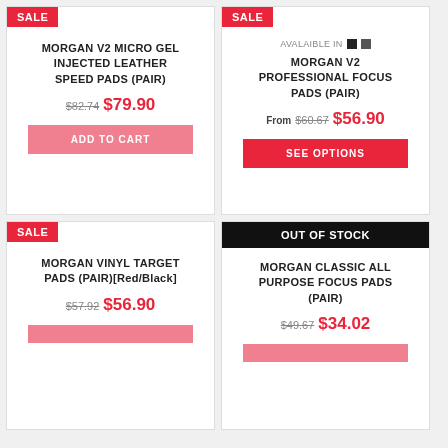MORGAN V2 MICRO GEL INJECTED LEATHER SPEED PADS (PAIR)
$82.74 $79.90
ADD TO CART
AVALAIBLE IN ■ ■
MORGAN V2 PROFESSIONAL FOCUS PADS (PAIR)
From $60.67 $56.90
SEE OPTIONS
MORGAN VINYL TARGET PADS (PAIR)[Red/Black]
$57.92 $56.90
MORGAN CLASSIC ALL PURPOSE FOCUS PADS (PAIR)
$49.67 $34.02